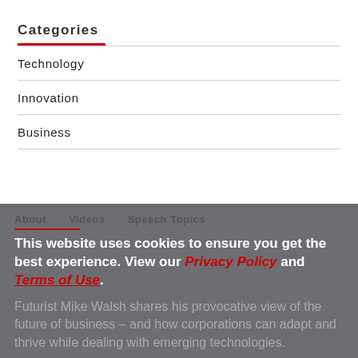Categories
Technology
Innovation
Business
About   Videos   Speech Topics
This website uses cookies to ensure you get the best experience. View our Privacy Policy and Terms of Use.
Futurist Mike Walsh shares his provocative view of the future of business – and how corporations can adapt and thrive while dealing with emerging technologies.